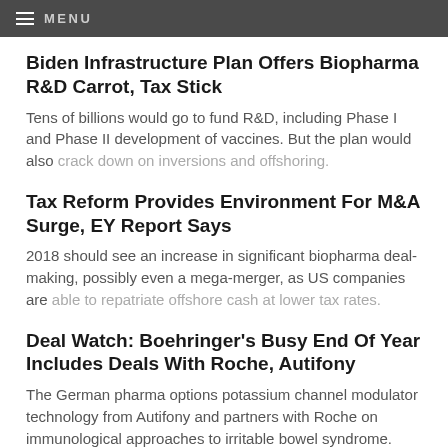MENU
Biden Infrastructure Plan Offers Biopharma R&D Carrot, Tax Stick
Tens of billions would go to fund R&D, including Phase I and Phase II development of vaccines. But the plan would also crack down on inversions and offshoring.
Tax Reform Provides Environment For M&A Surge, EY Report Says
2018 should see an increase in significant biopharma deal-making, possibly even a mega-merger, as US companies are able to repatriate offshore cash at lower tax rates.
Deal Watch: Boehringer's Busy End Of Year Includes Deals With Roche, Autifony
The German pharma options potassium channel modulator technology from Autifony and partners with Roche on immunological approaches to irritable bowel syndrome.